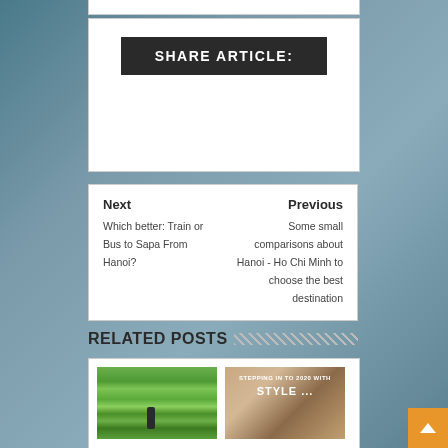SHARE ARTICLE:
Next
Which better: Train or Bus to Sapa From Hanoi?
Previous
Some small comparisons about Hanoi - Ho Chi Minh to choose the best destination
RELATED POSTS
[Figure (photo): Terraced rice fields with a person in the foreground]
[Figure (photo): Magazine style photo with text 'STEPPING IN TO 2020 WITH STYLE ...']